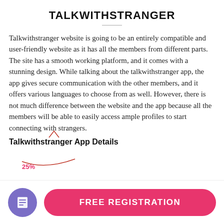TALKWITHSTRANGER
Talkwithstranger website is going to be an entirely compatible and user-friendly website as it has all the members from different parts. The site has a smooth working platform, and it comes with a stunning design. While talking about the talkwithstranger app, the app gives secure communication with the other members, and it offers various languages to choose from as well. However, there is not much difference between the website and the app because all the members will be able to easily access ample profiles to start connecting with strangers.
Talkwithstranger App Details
[Figure (other): Bottom navigation bar with a purple circular icon containing a document/list symbol on the left, and a pink rounded button labeled FREE REGISTRATION on the right]